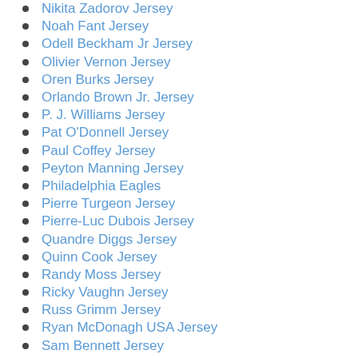Nikita Zadorov Jersey
Noah Fant Jersey
Odell Beckham Jr Jersey
Olivier Vernon Jersey
Oren Burks Jersey
Orlando Brown Jr. Jersey
P. J. Williams Jersey
Pat O'Donnell Jersey
Paul Coffey Jersey
Peyton Manning Jersey
Philadelphia Eagles
Pierre Turgeon Jersey
Pierre-Luc Dubois Jersey
Quandre Diggs Jersey
Quinn Cook Jersey
Randy Moss Jersey
Ricky Vaughn Jersey
Russ Grimm Jersey
Ryan McDonagh USA Jersey
Sam Bennett Jersey